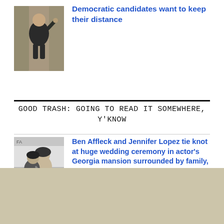[Figure (photo): Photo of a man in dark suit waving, outdoors with brick background]
Democratic candidates want to keep their distance
GOOD TRASH: GOING TO READ IT SOMEWHERE, Y'KNOW
[Figure (photo): Black and white photo of Ben Affleck and Jennifer Lopez embracing and smiling]
Ben Affleck and Jennifer Lopez tie knot at huge wedding ceremony in actor's Georgia mansion surrounded by family, friends and A-listers
[Figure (other): Tan/beige advertisement block]